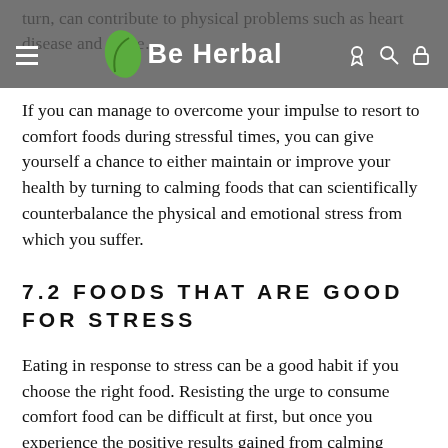turn, can contribute to physical problems such as heart disease and diabe…
Be Herbal
If you can manage to overcome your impulse to resort to comfort foods during stressful times, you can give yourself a chance to either maintain or improve your health by turning to calming foods that can scientifically counterbalance the physical and emotional stress from which you suffer.
7.2 FOODS THAT ARE GOOD FOR STRESS
Eating in response to stress can be a good habit if you choose the right food. Resisting the urge to consume comfort food can be difficult at first, but once you experience the positive results gained from calming foods, you will never again want to indulge.
Healthy food can naturally support a positive mood and